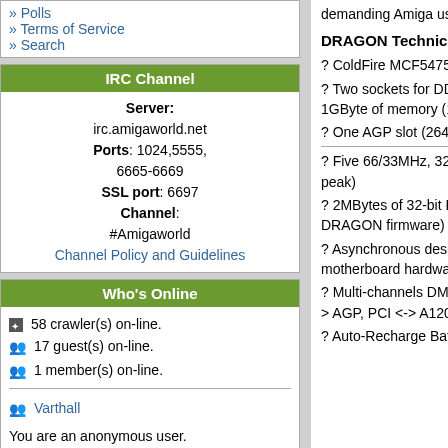» Polls
» Terms of Service
» Search
IRC Channel
Server: irc.amigaworld.net Ports: 1024,5555, 6665-6669 SSL port: 6697 Channel: #Amigaworld Channel Policy and Guidelines
Who's Online
58 crawler(s) on-line. 17 guest(s) on-line. 1 member(s) on-line. Varthall You are an anonymous user. Register Now!
demanding Amiga users.
DRAGON Technical Specification:
? ColdFire MCF5475 processor (410MIPS) running at 266MHz
? Two sockets for DDR-266 SDRAM modules, support up to 1GByte of memory (1GB/s peak)
? One AGP slot (264MB/s peak access from the main processor)
? Five 66/33MHz, 32-bit PCI slots, PCI 2.2 compliant (264MB/s peak)
? 2MBytes of 32-bit Flash memory (containing upgradeable DRAGON firmware)
? Asynchronous design with fast access to Amiga 1200 motherboard hardware
? Multi-channels DMA support (PCI <-> PCI, PCI <-> DDR, PCI <-> AGP, PCI <-> A1200)
? Auto-Recharge Battery-backed Real Time Clock